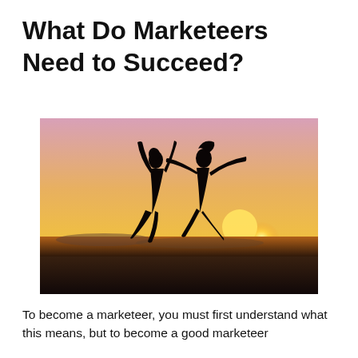What Do Marketeers Need to Succeed?
[Figure (photo): Two people silhouetted jumping joyfully against a golden sunset sky at the beach, arms raised in celebration.]
To become a marketeer, you must first understand what this means, but to become a good marketeer